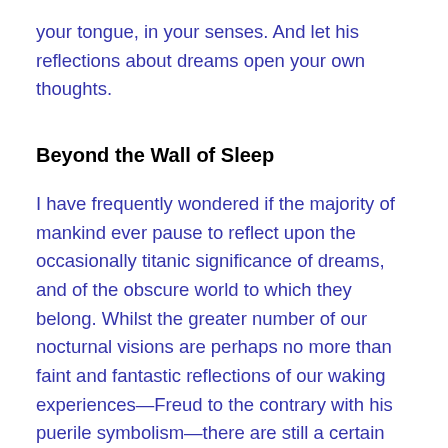your tongue, in your senses. And let his reflections about dreams open your own thoughts.
Beyond the Wall of Sleep
I have frequently wondered if the majority of mankind ever pause to reflect upon the occasionally titanic significance of dreams, and of the obscure world to which they belong. Whilst the greater number of our nocturnal visions are perhaps no more than faint and fantastic reflections of our waking experiences—Freud to the contrary with his puerile symbolism—there are still a certain remainder whose immundane and ethereal character permits of no ordinary interpretation, and whose vaguely exciting and disquieting effect suggests possible minute glimpses into a sphere of